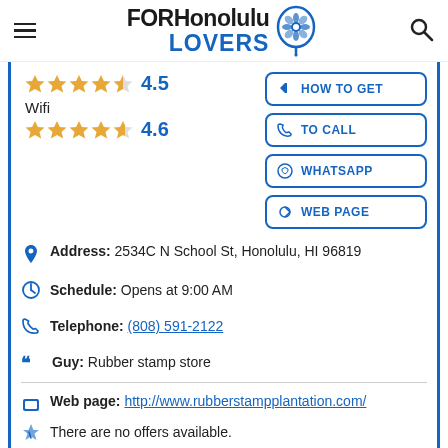FORHonolulu LOVERS
4.5 (stars rating)
Wifi 4.6 (stars rating)
HOW TO GET
TO CALL
WHATSAPP
WEB PAGE
Address: 2534C N School St, Honolulu, HI 96819
Schedule: Opens at 9:00 AM
Telephone: (808) 591-2122
Guy: Rubber stamp store
Web page: http://www.rubberstampplantation.com/
There are no offers available.